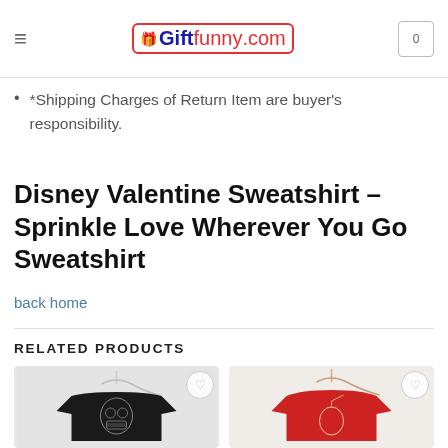Giftfunny.com navigation bar
*Shipping/handling charges are non-refundable.
*Shipping Charges of Return Item are buyer's responsibility.
Disney Valentine Sweatshirt – Sprinkle Love Wherever You Go Sweatshirt
back home
RELATED PRODUCTS
[Figure (photo): Black sweatshirt with Darth Vader graphic on hanger against light grey background]
[Figure (photo): Red sweatshirt with coconut drink graphic on hanger against light background]